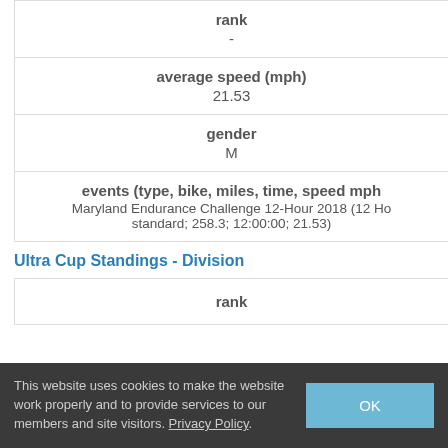| rank | average speed (mph) | gender | events (type, bike, miles, time, speed mph) |
| --- | --- | --- | --- |
| - |
| 21.53 |
| M |
| Maryland Endurance Challenge 12-Hour 2018 (12 Ho standard; 258.3; 12:00:00; 21.53) |
Ultra Cup Standings - Division
| rank |
| --- |
This website uses cookies to make the website work properly and to provide services to our members and site visitors. Privacy Policy.